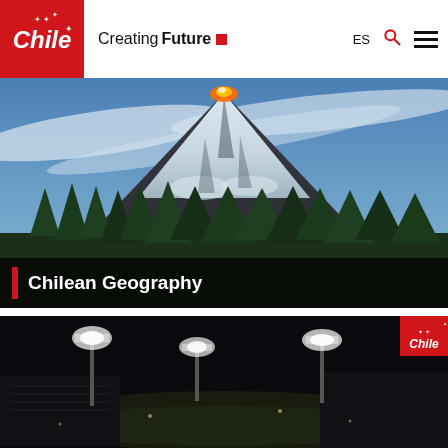[Figure (logo): Chile Creating Future logo with red background, white Chile text and stars, plus 'Creating Future' text with red square accent]
[Figure (photo): Snow-capped volcano (Villarrica or similar Chilean volcano) erupting with lava glow at top, surrounded by pine trees and blue sky with clouds]
Chilean Geography
[Figure (photo): Night-time aerial view of an illuminated stadium with floodlights, dark surroundings, Chile logo visible in upper right corner]